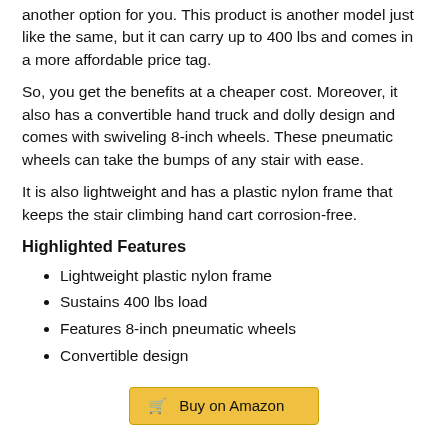another option for you. This product is another model just like the same, but it can carry up to 400 lbs and comes in a more affordable price tag.
So, you get the benefits at a cheaper cost. Moreover, it also has a convertible hand truck and dolly design and comes with swiveling 8-inch wheels. These pneumatic wheels can take the bumps of any stair with ease.
It is also lightweight and has a plastic nylon frame that keeps the stair climbing hand cart corrosion-free.
Highlighted Features
Lightweight plastic nylon frame
Sustains 400 lbs load
Features 8-inch pneumatic wheels
Convertible design
[Figure (other): Buy on Amazon button with shopping cart icon, yellow/gold background]